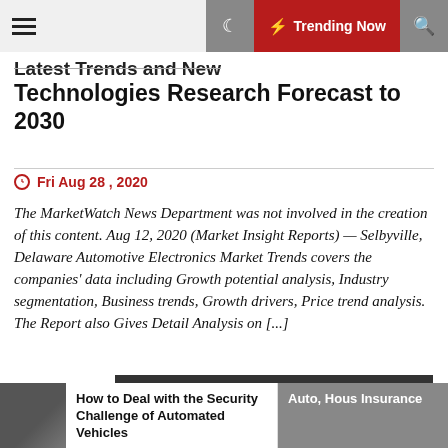Trending Now
Latest Trends and New Technologies Research Forecast to 2030
Fri Aug 28 , 2020
The MarketWatch News Department was not involved in the creation of this content. Aug 12, 2020 (Market Insight Reports) — Selbyville, Delaware Automotive Electronics Market Trends covers the companies' data including Growth potential analysis, Industry segmentation, Business trends, Growth drivers, Price trend analysis. The Report also Gives Detail Analysis on [...]
[Figure (other): Dark grey/black advertisement banner]
How to Deal with the Security Challenge of Automated Vehicles
Auto, Hous Insurance